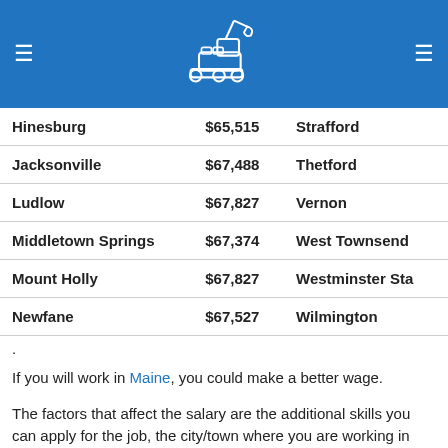Navigation header with logo and menu icons
| City | Salary | City2 |
| --- | --- | --- |
| Hinesburg | $65,515 | Strafford |
| Jacksonville | $67,488 | Thetford |
| Ludlow | $67,827 | Vernon |
| Middletown Springs | $67,374 | West Townsend |
| Mount Holly | $67,827 | Westminster Sta… |
| Newfane | $67,527 | Wilmington |
.
If you will work in Maine, you could make a better wage.
The factors that affect the salary are the additional skills you can apply for the job, the city/town where you are working in Vermont, and the certifications/licenses you had acquired throughout the years you're working as an operator.